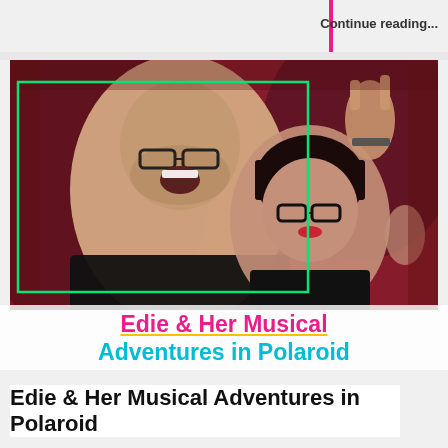Continue reading...
[Figure (photo): Two people posing for a photo in a red-lit venue. A tall bald man with glasses and beard making an excited face, and a woman with dark hair and glasses making a rock hand gesture. There is a green rectangular border overlay on the photo.]
Edie & Her Musical Adventures in Polaroid
Edie & Her Musical Adventures in Polaroid